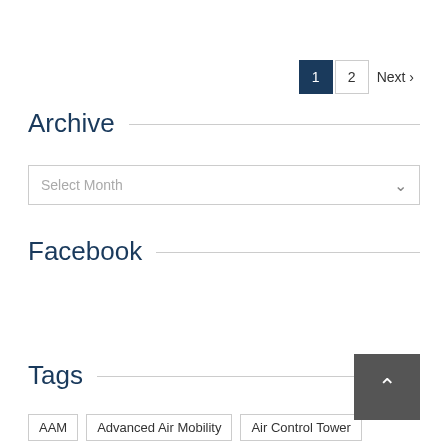1  2  Next >
Archive
Select Month
Facebook
Tags
AAM
Advanced Air Mobility
Air Control Tower